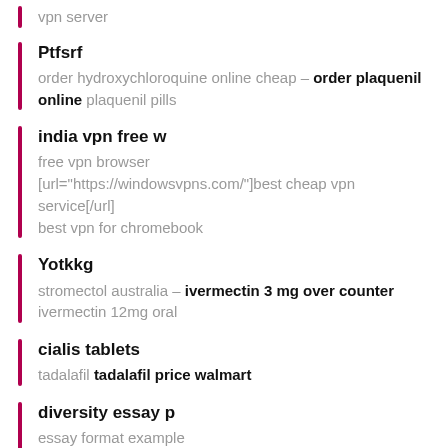vpn server
Ptfsrf
order hydroxychloroquine online cheap – order plaquenil online plaquenil pills
india vpn free w
free vpn browser
[url="https://windowsvpns.com/"]best cheap vpn service[/url]
best vpn for chromebook
Yotkkg
stromectol australia – ivermectin 3 mg over counter
ivermectin 12mg oral
cialis tablets
tadalafil tadalafil price walmart
diversity essay p
essay format example
[url="https://yoursuperessay.com/"]typing essay[/url]